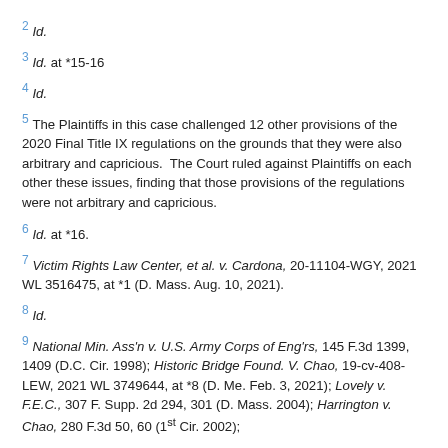2 Id.
3 Id. at *15-16
4 Id.
5 The Plaintiffs in this case challenged 12 other provisions of the 2020 Final Title IX regulations on the grounds that they were also arbitrary and capricious. The Court ruled against Plaintiffs on each other these issues, finding that those provisions of the regulations were not arbitrary and capricious.
6 Id. at *16.
7 Victim Rights Law Center, et al. v. Cardona, 20-11104-WGY, 2021 WL 3516475, at *1 (D. Mass. Aug. 10, 2021).
8 Id.
9 National Min. Ass'n v. U.S. Army Corps of Eng'rs, 145 F.3d 1399, 1409 (D.C. Cir. 1998); Historic Bridge Found. V. Chao, 19-cv-408-LEW, 2021 WL 3749644, at *8 (D. Me. Feb. 3, 2021); Lovely v. F.E.C., 307 F. Supp. 2d 294, 301 (D. Mass. 2004); Harrington v. Chao, 280 F.3d 50, 60 (1st Cir. 2002);